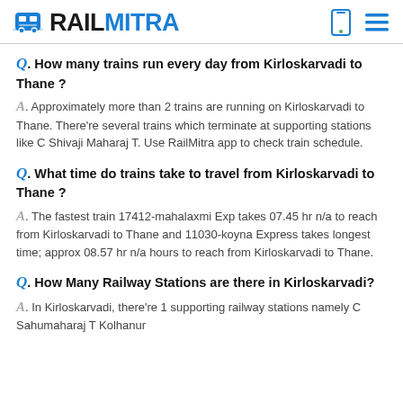RAILMITRA
Q. How many trains run every day from Kirloskarvadi to Thane ?
A. Approximately more than 2 trains are running on Kirloskarvadi to Thane. There’re several trains which terminate at supporting stations like C Shivaji Maharaj T. Use RailMitra app to check train schedule.
Q. What time do trains take to travel from Kirloskarvadi to Thane ?
A. The fastest train 17412-mahalaxmi Exp takes 07.45 hr n/a to reach from Kirloskarvadi to Thane and 11030-koyna Express takes longest time; approx 08.57 hr n/a hours to reach from Kirloskarvadi to Thane.
Q. How Many Railway Stations are there in Kirloskarvadi?
A. In Kirloskarvadi, there’re 1 supporting railway stations namely C Sahumaharaj T Kolhanur